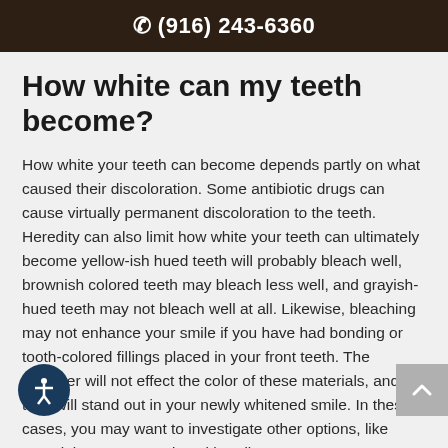☎ (916) 243-6360
How white can my teeth become?
How white your teeth can become depends partly on what caused their discoloration. Some antibiotic drugs can cause virtually permanent discoloration to the teeth. Heredity can also limit how white your teeth can ultimately become yellow-ish hued teeth will probably bleach well, brownish colored teeth may bleach less well, and grayish-hued teeth may not bleach well at all. Likewise, bleaching may not enhance your smile if you have had bonding or tooth-colored fillings placed in your front teeth. The whitener will not effect the color of these materials, and they will stand out in your newly whitened smile. In these cases, you may want to investigate other options, like porcelain veneers or dental bonding.